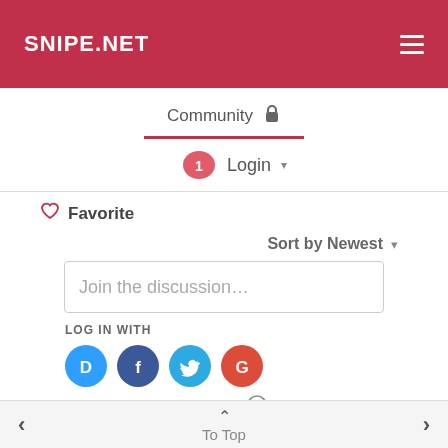SNIPE.NET
Community 🔒
Login ▾
♡ Favorite
Sort by Newest ▾
Join the discussion...
LOG IN WITH
[Figure (screenshot): Social login icons: Disqus (D), Facebook (F), Twitter bird, Google (G) in colored circles]
OR SIGN UP WITH DISQUS ?
< To Top >